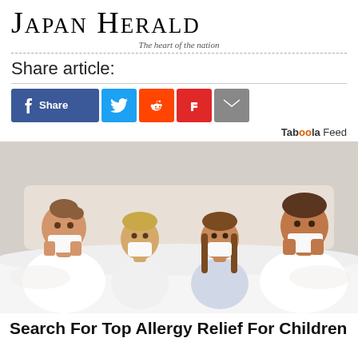JAPAN HERALD — The heart of the nation
Share article:
[Figure (infographic): Social share buttons: Facebook Share, Twitter, Reddit, Flipboard, Email]
Taboola Feed
[Figure (photo): A family of four — mother, toddler boy, young girl, and father — all sitting in bed blowing their noses with tissues.]
Search For Top Allergy Relief For Children